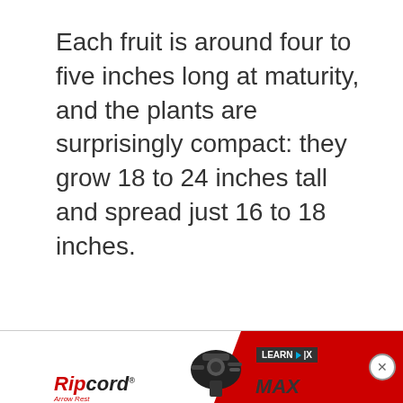Each fruit is around four to five inches long at maturity, and the plants are surprisingly compact: they grow 18 to 24 inches tall and spread just 16 to 18 inches.
[Figure (advertisement): Ripcord Arrow Rest advertisement banner with red background, logo, device image, LEARN MORE button, and MAX text]